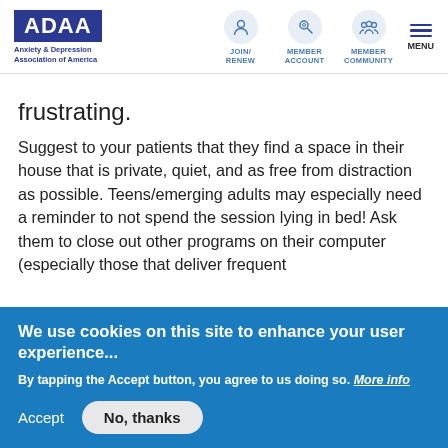ADAA | Anxiety & Depression Association of America — JOIN/RENEW, MEMBER ACCOUNT, MEMBER COMMUNITY, MENU
frustrating.
Suggest to your patients that they find a space in their house that is private, quiet, and as free from distraction as possible. Teens/emerging adults may especially need a reminder to not spend the session lying in bed! Ask them to close out other programs on their computer (especially those that deliver frequent
We use cookies on this site to enhance your user experience...
By tapping the Accept button, you agree to us doing so. More info
Accept   No, thanks